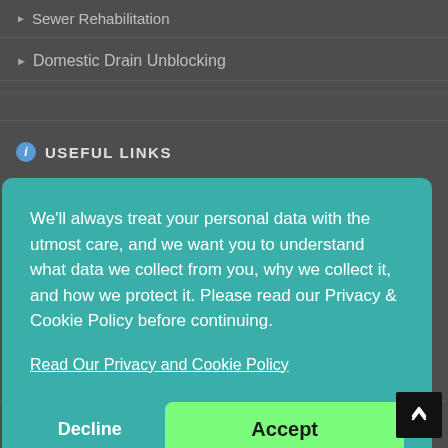▶ Sewer Rehabilitation
▶ Domestic Drain Unblocking
ℹ USEFUL LINKS
We'll always treat your personal data with the utmost care, and we want you to understand what data we collect from you, why we collect it, and how we protect it. Please read our Privacy & Cookie Policy before continuing.
Read Our Privacy and Cookie Policy
Decline
Accept
▶ Manhole Inspections